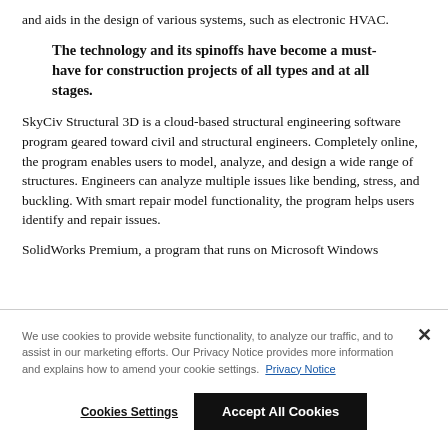and aids in the design of various systems, such as electronic HVAC.
The technology and its spinoffs have become a must-have for construction projects of all types and at all stages.
SkyCiv Structural 3D is a cloud-based structural engineering software program geared toward civil and structural engineers. Completely online, the program enables users to model, analyze, and design a wide range of structures. Engineers can analyze multiple issues like bending, stress, and buckling. With smart repair model functionality, the program helps users identify and repair issues.
SolidWorks Premium, a program that runs on Microsoft Windows
We use cookies to provide website functionality, to analyze our traffic, and to assist in our marketing efforts. Our Privacy Notice provides more information and explains how to amend your cookie settings.  Privacy Notice
Cookies Settings
Accept All Cookies